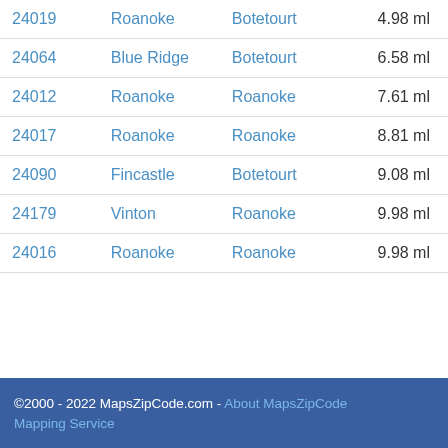| ZIP | City | County | Distance |
| --- | --- | --- | --- |
| 24019 | Roanoke | Botetourt | 4.98 ml |
| 24064 | Blue Ridge | Botetourt | 6.58 ml |
| 24012 | Roanoke | Roanoke | 7.61 ml |
| 24017 | Roanoke | Roanoke | 8.81 ml |
| 24090 | Fincastle | Botetourt | 9.08 ml |
| 24179 | Vinton | Roanoke | 9.98 ml |
| 24016 | Roanoke | Roanoke | 9.98 ml |
©2000 - 2022 MapsZipCode.com - About MapsZipCode Mapping Service